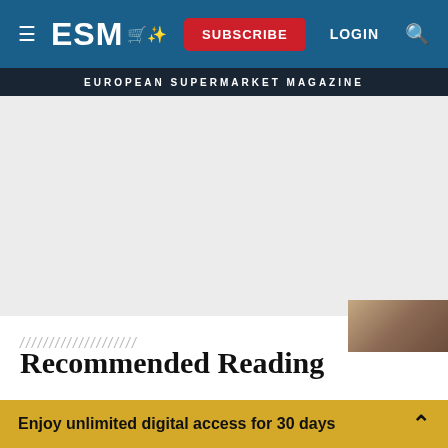ESM · SUBSCRIBE · LOGIN · Search | EUROPEAN SUPERMARKET MAGAZINE
[Figure (other): Advertisement placeholder area (light grey background)]
Recommended Reading
Retail
Enjoy unlimited digital access for 30 days